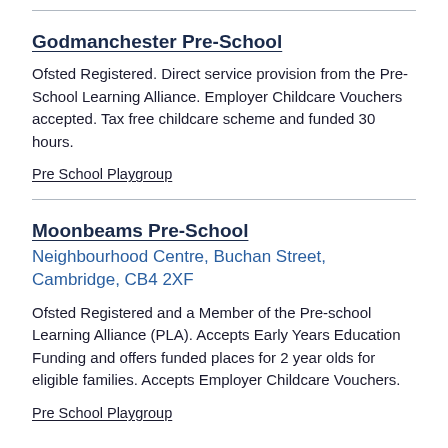Godmanchester Pre-School
Ofsted Registered. Direct service provision from the Pre-School Learning Alliance. Employer Childcare Vouchers accepted. Tax free childcare scheme and funded 30 hours.
Pre School Playgroup
Moonbeams Pre-School
Neighbourhood Centre, Buchan Street, Cambridge, CB4 2XF
Ofsted Registered and a Member of the Pre-school Learning Alliance (PLA). Accepts Early Years Education Funding and offers funded places for 2 year olds for eligible families. Accepts Employer Childcare Vouchers.
Pre School Playgroup